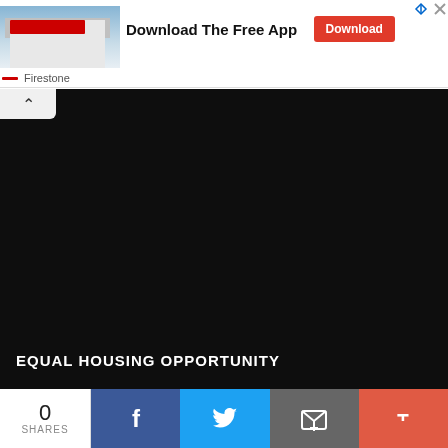[Figure (screenshot): Advertisement banner for Firestone app with store photo, 'Download The Free App' headline, red Download button, and Firestone brand label]
[Figure (photo): Black/dark area representing a video player or dark content area with a collapse/chevron tab at top left]
EQUAL HOUSING OPPORTUNITY
0 SHARES
[Figure (infographic): Social sharing bar with Facebook, Twitter, Email, and More buttons]